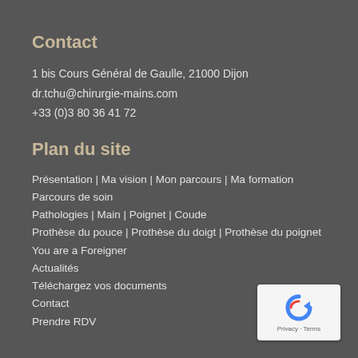Contact
1 bis Cours Général de Gaulle, 21000 Dijon
dr.tchu@chirurgie-mains.com
+33 (0)3 80 36 41 72
Plan du site
Présentation | Ma vision | Mon parcours | Ma formation
Parcours de soin
Pathologies | Main | Poignet | Coude
Prothèse du pouce | Prothèse du doigt | Prothèse du poignet
You are a Foreigner
Actualités
Téléchargez vos documents
Contact
Prendre RDV
[Figure (logo): reCAPTCHA logo with Privacy and Terms text]